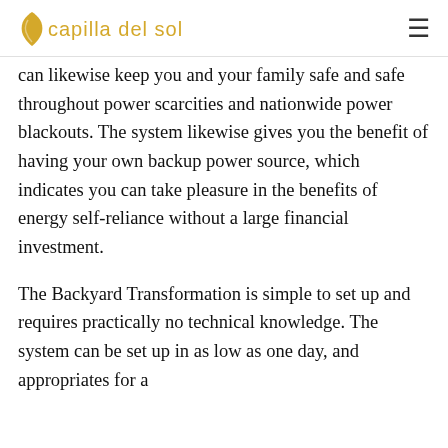capilla del sol
can likewise keep you and your family safe and safe throughout power scarcities and nationwide power blackouts. The system likewise gives you the benefit of having your own backup power source, which indicates you can take pleasure in the benefits of energy self-reliance without a large financial investment.
The Backyard Transformation is simple to set up and requires practically no technical knowledge. The system can be set up in as low as one day, and appropriates for a